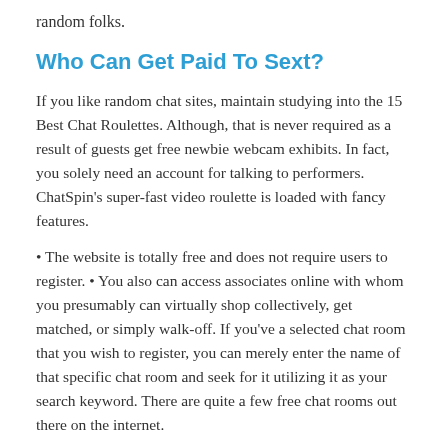random folks.
Who Can Get Paid To Sext?
If you like random chat sites, maintain studying into the 15 Best Chat Roulettes. Although, that is never required as a result of guests get free newbie webcam exhibits. In fact, you solely need an account for talking to performers. ChatSpin's super-fast video roulette is loaded with fancy features.
• The website is totally free and does not require users to register. • You also can access associates online with whom you presumably can virtually shop collectively, get matched, or simply walk-off. If you've a selected chat room that you wish to register, you can merely enter the name of that specific chat room and seek for it utilizing it as your search keyword. There are quite a few free chat rooms out there on the internet.